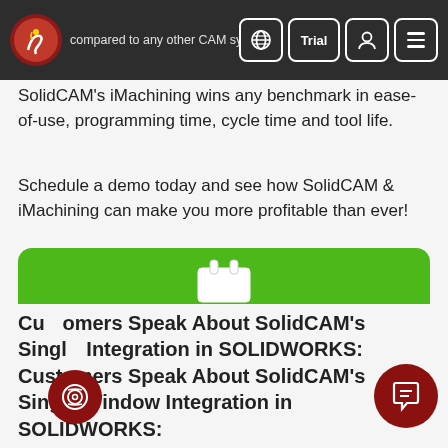[Figure (screenshot): SolidCAM website navigation bar with logo, globe icon, Trial button, user icon, and hamburger menu on dark background, with partial text visible]
SolidCAM's iMachining wins any benchmark in ease-of-use, programming time, cycle time and tool life.
Schedule a demo today and see how SolidCAM & iMachining can make you more profitable than ever!
[Figure (screenshot): Green chat widget box showing SolidCAMSupport Team chat popup with message 'Let us know if you have any questions.' and SolidCAM logo avatar, with red chat bubble button and red fingerprint button overlaid]
Customers Speak About SolidCAM's Single Window Integration in SOLIDWORKS: